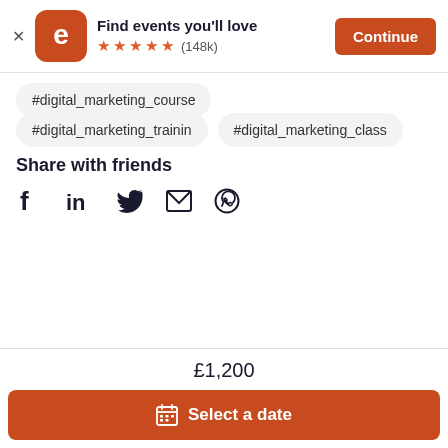[Figure (screenshot): Eventbrite app banner with logo, star rating, and Continue button]
#digital_marketing_course
#digital_marketing_trainin
#digital_marketing_class
Share with friends
[Figure (other): Social share icons: Facebook, LinkedIn, Twitter, Email, WhatsApp]
£1,200
Select a date